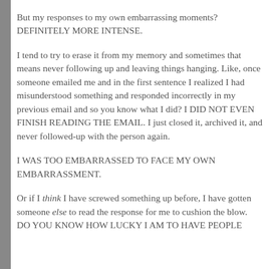But my responses to my own embarrassing moments? DEFINITELY MORE INTENSE.
I tend to try to erase it from my memory and sometimes that means never following up and leaving things hanging. Like, once someone emailed me and in the first sentence I realized I had misunderstood something and responded incorrectly in my previous email and so you know what I did? I DID NOT EVEN FINISH READING THE EMAIL. I just closed it, archived it, and never followed-up with the person again.
I WAS TOO EMBARRASSED TO FACE MY OWN EMBARRASSMENT.
Or if I think I have screwed something up before, I have gotten someone else to read the response for me to cushion the blow. DO YOU KNOW HOW LUCKY I AM TO HAVE PEOPLE